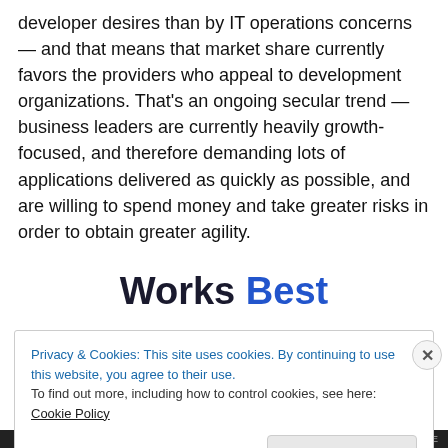developer desires than by IT operations concerns — and that means that market share currently favors the providers who appeal to development organizations. That's an ongoing secular trend — business leaders are currently heavily growth-focused, and therefore demanding lots of applications delivered as quickly as possible, and are willing to spend money and take greater risks in order to obtain greater agility.
Works Best
Privacy & Cookies: This site uses cookies. By continuing to use this website, you agree to their use.
To find out more, including how to control cookies, see here: Cookie Policy